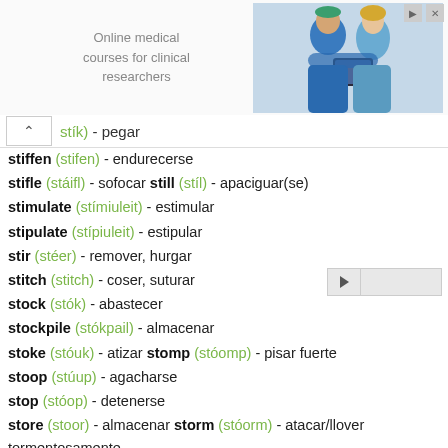[Figure (photo): Advertisement banner showing two medical professionals in scrubs looking at a tablet, with text 'Online medical courses for clinical researchers']
stik) - pegar
stiffen (stifen) - endurecerse
stifle (stáifl) - sofocar   still (stíl) - apaciguar(se)
stimulate (stímiuleit) - estimular
stipulate (stípiuleit) - estipular
stir (stéer) - remover, hurgar
stitch (stitch) - coser, suturar
stock (stók) - abastecer
stockpile (stókpail) - almacenar
stoke (stóuk) - atizar   stomp (stóomp) - pisar fuerte
stoop (stúup) - agacharse
stop (stóop) - detenerse
store (stoor) - almacenar   storm (stóorm) - atacar/llover tormentosamente
stow (stóu) - guardar
straddle (strádl) - sentarse a horcajadas
straighten (stréiten) - enderezar   strain (stréin) - forzar